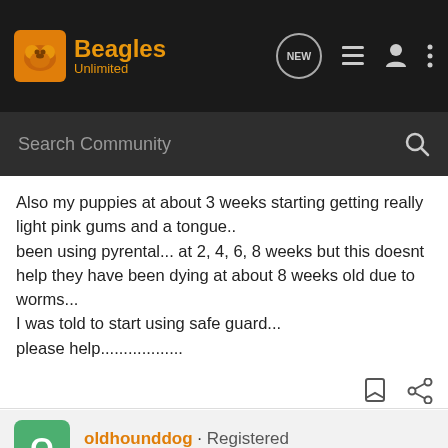Beagles Unlimited
Search Community
Also my puppies at about 3 weeks starting getting really light pink gums and a tongue..
been using pyrental... at 2, 4, 6, 8 weeks but this doesnt help they have been dying at about 8 weeks old due to worms...
I was told to start using safe guard...
please help..................
oldhounddog · Registered
Joined Jan 28, 2011 · 326 Posts
#2 · Jun 18, 2012 (Edited)